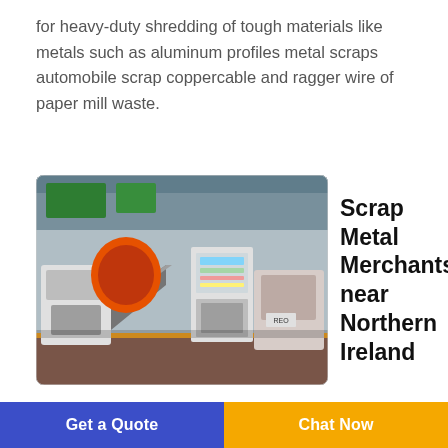for heavy-duty shredding of tough materials like metals such as aluminum profiles metal scraps automobile scrap coppercable and ragger wire of paper mill waste.
[Figure (photo): Industrial metal shredding machines on a factory floor, including orange and white machinery and a control panel cabinet.]
Scrap Metal Merchants near Northern Ireland
ReviewsYell
Scrap Metal Merchants. Call. Tel 07999 585395. 3 Glenwood Green Belfast BT17 0QX. 5.0 (1 Rating)
Get a Quote   Chat Now